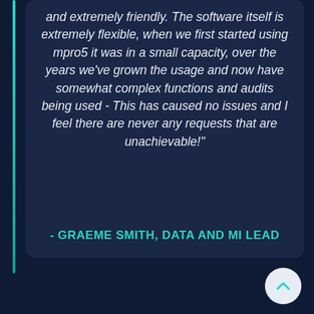and extremely friendly. The software itself is extremely flexible, when we first started using mpro5 it was in a small capacity, over the years we've grown the usage and now have somewhat complex functions and audits being used - This has caused no issues and I feel there are never any requests that are unachievable!"
- GRAEME SMITH, DATA AND MI LEAD